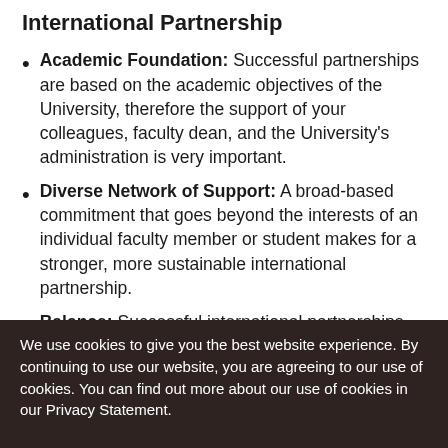International Partnership
Academic Foundation: Successful partnerships are based on the academic objectives of the University, therefore the support of your colleagues, faculty dean, and the University's administration is very important.
Diverse Network of Support: A broad-based commitment that goes beyond the interests of an individual faculty member or student makes for a stronger, more sustainable international partnership.
Balance: Successful international partnerships are ones in which all participating institutions experience a satisfactory level of benefit. When
We use cookies to give you the best website experience. By continuing to use our website, you are agreeing to our use of cookies. You can find out more about our use of cookies in our Privacy Statement.